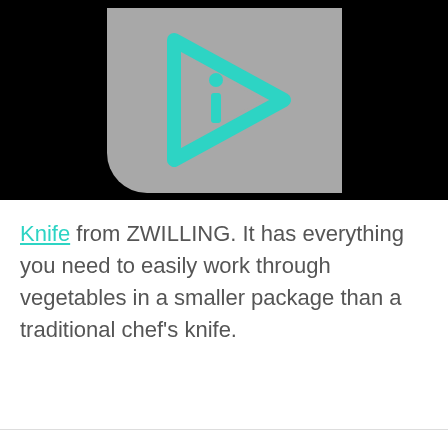[Figure (screenshot): Video thumbnail with black background and centered gray card containing a cyan play-button icon with an 'i' inside, representing an informational video player interface.]
Knife from ZWILLING. It has everything you need to easily work through vegetables in a smaller package than a traditional chef's knife.